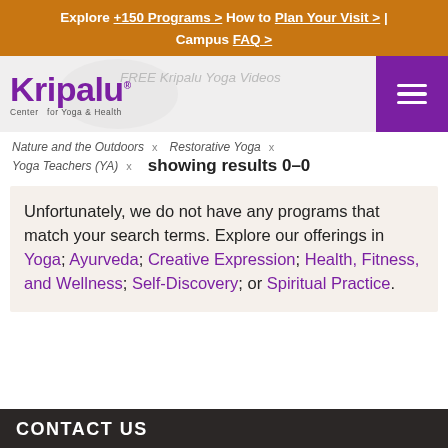Explore +150 Programs > How to Plan Your Visit > | Campus FAQ >
[Figure (logo): Kripalu Center for Yoga & Health logo with purple wordmark]
Nature and the Outdoors  x   Restorative Yoga  x
Yoga Teachers (YA)  x   showing results 0–0
Unfortunately, we do not have any programs that match your search terms. Explore our offerings in Yoga; Ayurveda; Creative Expression; Health, Fitness, and Wellness; Self-Discovery; or Spiritual Practice.
CONTACT US